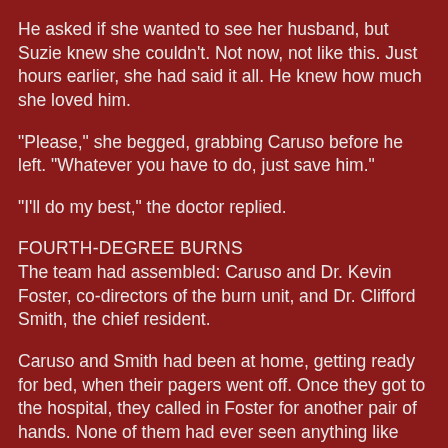He asked if she wanted to see her husband, but Suzie knew she couldn't. Not now, not like this. Just hours earlier, she had said it all. He knew how much she loved him.
"Please," she begged, grabbing Caruso before he left. "Whatever you have to do, just save him."
"I'll do my best," the doctor replied.
FOURTH-DEGREE BURNS
The team had assembled: Caruso and Dr. Kevin Foster, co-directors of the burn unit, and Dr. Clifford Smith, the chief resident.
Caruso and Smith had been at home, getting ready for bed, when their pagers went off. Once they got to the hospital, they called in Foster for another pair of hands. None of them had ever seen anything like this.
The burns had consumed the skin, tissue and fat in Jason's head, face and neck. His forehead was scorched right